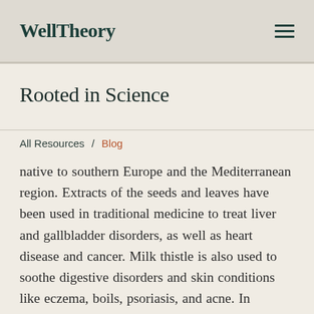WellTheory
Rooted in Science
All Resources / Blog
native to southern Europe and the Mediterranean region. Extracts of the seeds and leaves have been used in traditional medicine to treat liver and gallbladder disorders, as well as heart disease and cancer. Milk thistle is also used to soothe digestive disorders and skin conditions like eczema, boils, psoriasis, and acne. In addition, milk thistle has been used to treat fungal infections like Candida, ringworm, and athlete's foot